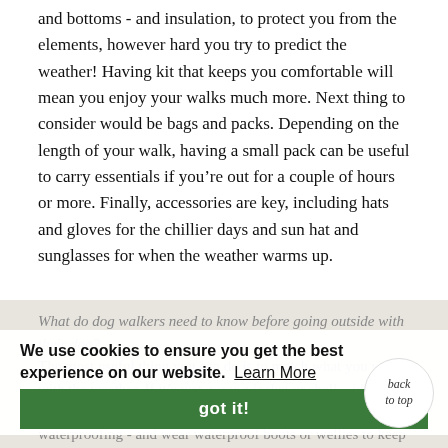and bottoms - and insulation, to protect you from the elements, however hard you try to predict the weather! Having kit that keeps you comfortable will mean you enjoy your walks much more. Next thing to consider would be bags and packs. Depending on the length of your walk, having a small pack can be useful to carry essentials if you're out for a couple of hours or more. Finally, accessories are key, including hats and gloves for the chillier days and sun hat and sunglasses for when the weather warms up.
We use cookies to ensure you get the best experience on our website. Learn More
What do dog walkers need to know before going outside with their dog?
The most useful thing you can do is to match what you wear with the weather. If it's wet, wear a jacket or shell – ideally something like GORE-TEX which offers guaranteed waterproofing - and wear waterproof boots or wellies to keep your feet from
got it!
back to top